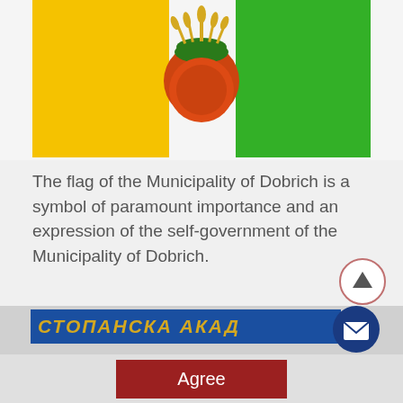[Figure (illustration): Flag of the Municipality of Dobrich: three vertical bands — yellow (left), white center with emblem showing wheat stalks over an orange/red circle (sunflower), and green (right).]
The flag of the Municipality of Dobrich is a symbol of paramount importance and an expression of the self-government of the Municipality of Dobrich.
[Figure (screenshot): Partial view of a blue sign with Cyrillic/italic gold text 'СТОПАНСКА АКАД...' and a mail envelope icon circle on the right.]
Agree